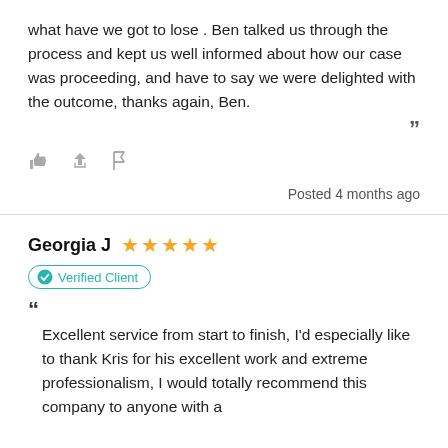what have we got to lose . Ben talked us through the process and kept us well informed about how our case was proceeding, and have to say we were delighted with the outcome, thanks again, Ben.
Posted 4 months ago
Georgia J
Verified Client
Excellent service from start to finish, I'd especially like to thank Kris for his excellent work and extreme professionalism, I would totally recommend this company to anyone with a